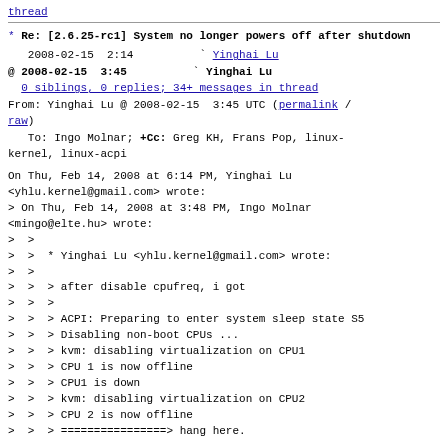thread
* Re: [2.6.25-rc1] System no longer powers off after shutdown
2008-02-15  2:14          ` Yinghai Lu
@ 2008-02-15  3:45          ` Yinghai Lu
  0 siblings, 0 replies; 34+ messages in thread
From: Yinghai Lu @ 2008-02-15  3:45 UTC (permalink / raw)
   To: Ingo Molnar; +Cc: Greg KH, Frans Pop, linux-kernel, linux-acpi
On Thu, Feb 14, 2008 at 6:14 PM, Yinghai Lu <yhlu.kernel@gmail.com> wrote:
> On Thu, Feb 14, 2008 at 3:48 PM, Ingo Molnar <mingo@elte.hu> wrote:
> >
> >  * Yinghai Lu <yhlu.kernel@gmail.com> wrote:
> >
> >  > after disable cpufreq, i got
> >  >
> >  > ACPI: Preparing to enter system sleep state S5
> >  > Disabling non-boot CPUs ...
> >  > kvm: disabling virtualization on CPU1
> >  > CPU 1 is now offline
> >  > CPU1 is down
> >  > kvm: disabling virtualization on CPU2
> >  > CPU 2 is now offline
> >  > ================> hang here.